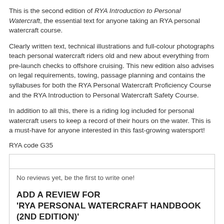This is the second edition of RYA Introduction to Personal Watercraft, the essential text for anyone taking an RYA personal watercraft course.
Clearly written text, technical illustrations and full-colour photographs teach personal watercraft riders old and new about everything from pre-launch checks to offshore cruising. This new edition also advises on legal requirements, towing, passage planning and contains the syllabuses for both the RYA Personal Watercraft Proficiency Course and the RYA Introduction to Personal Watercraft Safety Course.
In addition to all this, there is a riding log included for personal watercraft users to keep a record of their hours on the water. This is a must-have for anyone interested in this fast-growing watersport!
RYA code G35
No reviews yet, be the first to write one!
ADD A REVIEW FOR 'RYA PERSONAL WATERCRAFT HANDBOOK (2ND EDITION)'
Your Rating
Value ★★★★★